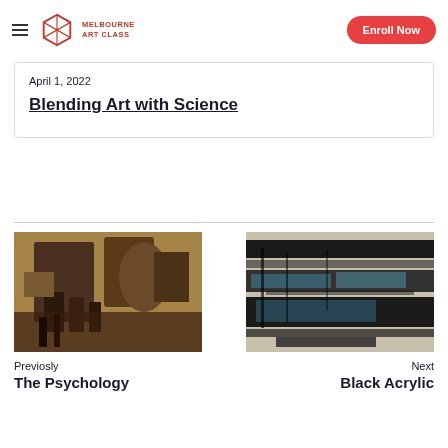Melbourne Art Class — Enroll Now
April 1, 2022
Blending Art with Science
[Figure (photo): Cluttered art studio interior with various artworks, bottles, and decorative objects]
Previosly
The Psychology
[Figure (photo): Abstract black acrylic painting with streaks of dark paint on light background]
Next
Black Acrylic